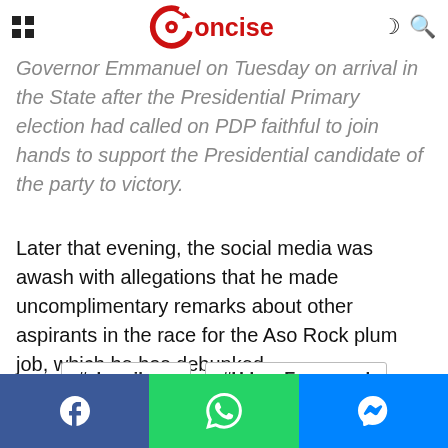[grid icon] Concise [moon icon] [search icon]
mischief, come into politics', he explained.
Governor Emmanuel on Tuesday on arrival in the State after the Presidential Primary election had called on PDP faithful to join hands to support the Presidential candidate of the party to victory.
Later that evening, the social media was awash with allegations that he made uncomplimentary remarks about other aspirants in the race for the Aso Rock plum job, which he has debunked.
#akwa ibom
#Udom Emmanuel
[Facebook] [WhatsApp] [Messenger]